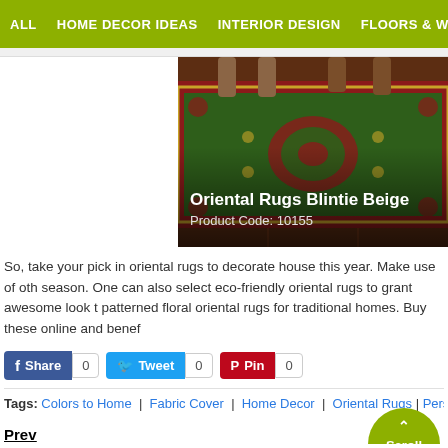ALL  HOME DECOR IDEAS  INTERIOR DESIGN  FLOORS & WALLS  WI
[Figure (photo): An oriental rug with red and green floral pattern displayed on a tiled floor with ornate furniture legs visible above. Text overlay reads: Oriental Rugs Blintie Beige / Product Code: 10155]
So, take your pick in oriental rugs to decorate house this year. Make use of oth season. One can also select eco-friendly oriental rugs to grant awesome look t patterned floral oriental rugs for traditional homes. Buy these online and benef
Share 0  Tweet 0  Pin 0
Tags: Colors to Home | Fabric Cover | Home Decor | Oriental Rugs | Persian Wea
Prev
You May Also Read Other Similar Articles